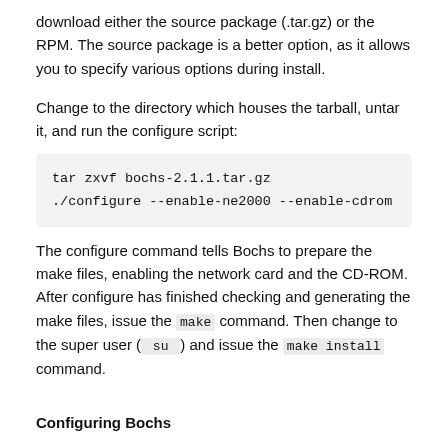download either the source package (.tar.gz) or the RPM. The source package is a better option, as it allows you to specify various options during install.
Change to the directory which houses the tarball, untar it, and run the configure script:
tar zxvf bochs-2.1.1.tar.gz
./configure --enable-ne2000 --enable-cdrom
The configure command tells Bochs to prepare the make files, enabling the network card and the CD-ROM. After configure has finished checking and generating the make files, issue the make command. Then change to the super user ( su ) and issue the make install command.
Configuring Bochs